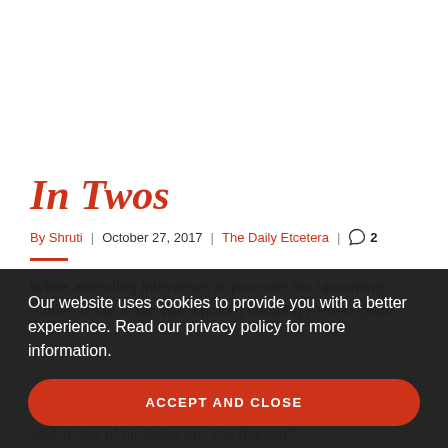In Twos
By Shruti | October 27, 2017 | The Daily Etcetera | 💬 2
While attending interviews to promote his upcoming movie, Irrfan Khan was spotted wearing Ermenegildo Zegna...
Our website uses cookies to provide you with a better experience. Read our privacy policy for more information.
ACCEPT AND CLOSE
Which one of his looks are you digging?